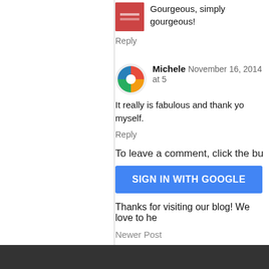Gourgeous, simply gourgeous!
Reply
Michele  November 16, 2014 at 5
It really is fabulous and thank yo myself.
Reply
To leave a comment, click the bu
SIGN IN WITH GOOGLE
Thanks for visiting our blog! We love to he
Newer Post
Subscribe to: Post Comments (Atom)